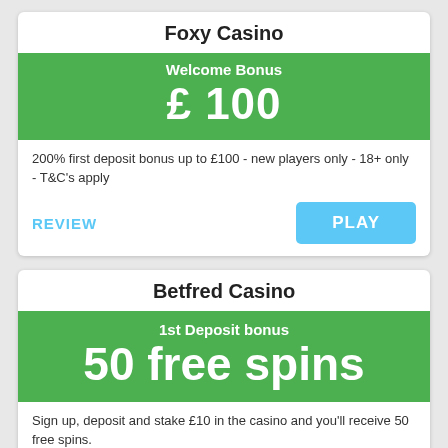Foxy Casino
Welcome Bonus £ 100
200% first deposit bonus up to £100 - new players only - 18+ only - T&C's apply
REVIEW
PLAY
Betfred Casino
1st Deposit bonus 50 free spins
Sign up, deposit and stake £10 in the casino and you'll receive 50 free spins.